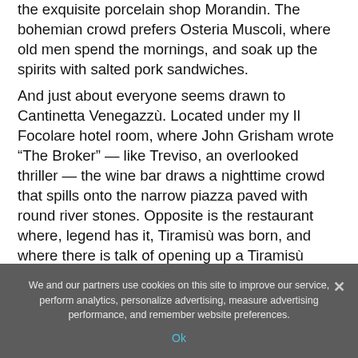the exquisite porcelain shop Morandin. The bohemian crowd prefers Osteria Muscoli, where old men spend the mornings, and soak up the spirits with salted pork sandwiches.
And just about everyone seems drawn to Cantinetta Venegazzù. Located under my Il Focolare hotel room, where John Grisham wrote “The Broker” — like Treviso, an overlooked thriller — the wine bar draws a nighttime crowd that spills onto the narrow piazza paved with round river stones. Opposite is the restaurant where, legend has it, Tiramisù was born, and where there is talk of opening up a Tiramisù...
We and our partners use cookies on this site to improve our service, perform analytics, personalize advertising, measure advertising performance, and remember website preferences.
Ok